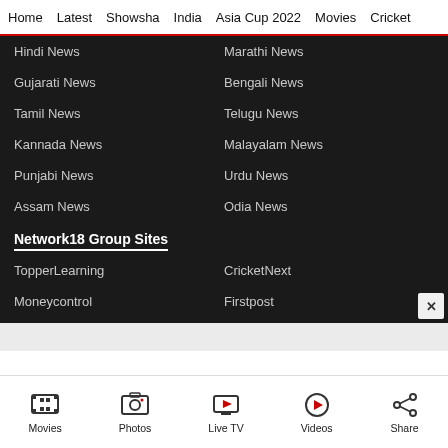Home | Latest | Showsha | India | Asia Cup 2022 | Movies | Cricket
Hindi News
Marathi News
Gujarati News
Bengali News
Tamil News
Telugu News
Kannada News
Malayalam News
Punjabi News
Urdu News
Assam News
Odia News
Network18 Group Sites
TopperLearning
CricketNext
Moneycontrol
Firstpost
Movies | Photos | Live TV | Videos | Share